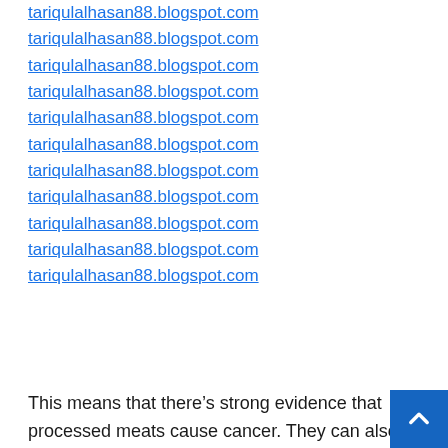tariqulalhasan88.blogspot.com
tariqulalhasan88.blogspot.com
tariqulalhasan88.blogspot.com
tariqulalhasan88.blogspot.com
tariqulalhasan88.blogspot.com
tariqulalhasan88.blogspot.com
tariqulalhasan88.blogspot.com
tariqulalhasan88.blogspot.com
tariqulalhasan88.blogspot.com
tariqulalhasan88.blogspot.com
tariqulalhasan88.blogspot.com
This means that there’s strong evidence that processed meats cause cancer. They can also increase your risk of stomach cancer. In addition the nitrite and nitrate preservatives used to preserve processed meat produce these N-nitroso